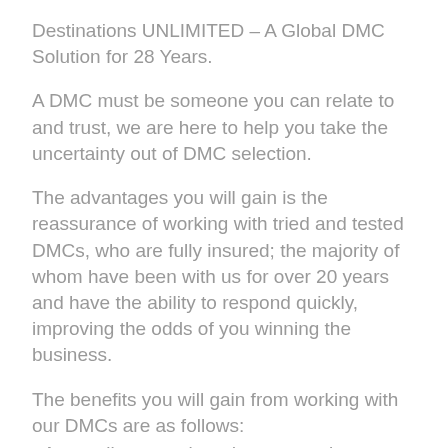Destinations UNLIMITED – A Global DMC Solution for 28 Years.
A DMC must be someone you can relate to and trust, we are here to help you take the uncertainty out of DMC selection.
The advantages you will gain is the reassurance of working with tried and tested DMCs, who are fully insured; the majority of whom have been with us for over 20 years and have the ability to respond quickly, improving the odds of you winning the business.
The benefits you will gain from working with our DMCs are as follows:
• A complimentary introductory service – allowing access to sample programmes, sightseeing and